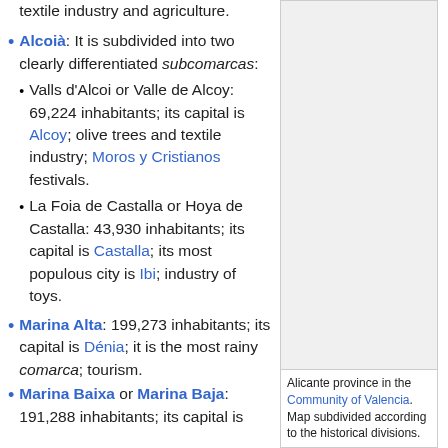textile industry and agriculture.
Alcoià: It is subdivided into two clearly differentiated subcomarcas: [sub-items: Valls d'Alcoi or Valle de Alcoy: 69,224 inhabitants; its capital is Alcoy; olive trees and textile industry; Moros y Cristianos festivals. | La Foia de Castalla or Hoya de Castalla: 43,930 inhabitants; its capital is Castalla; its most populous city is Ibi; industry of toys.]
[Figure (map): Map of Alicante province in the Community of Valencia, subdivided according to historical divisions. Gray background placeholder.]
Alicante province in the Community of Valencia. Map subdivided according to the historical divisions.
Marina Alta: 199,273 inhabitants; its capital is Dénia; it is the most rainy comarca; tourism.
Marina Baixa or Marina Baja: 191,288 inhabitants; its capital is